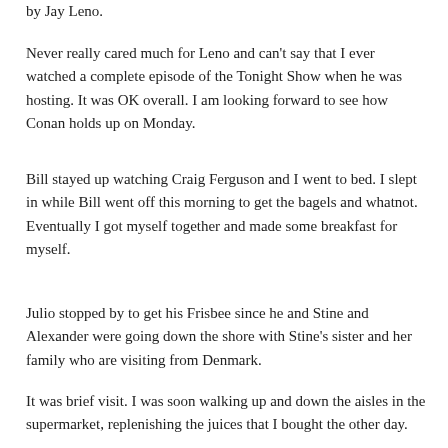by Jay Leno.
Never really cared much for Leno and can't say that I ever watched a complete episode of the Tonight Show when he was hosting. It was OK overall. I am looking forward to see how Conan holds up on Monday.
Bill stayed up watching Craig Ferguson and I went to bed. I slept in while Bill went off this morning to get the bagels and whatnot. Eventually I got myself together and made some breakfast for myself.
Julio stopped by to get his Frisbee since he and Stine and Alexander were going down the shore with Stine's sister and her family who are visiting from Denmark.
It was brief visit. I was soon walking up and down the aisles in the supermarket, replenishing the juices that I bought the other day.